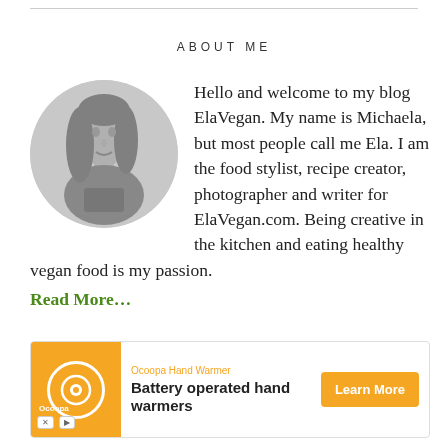ABOUT ME
[Figure (photo): Black and white circular portrait photo of a woman with long hair]
Hello and welcome to my blog ElaVegan. My name is Michaela, but most people call me Ela. I am the food stylist, recipe creator, photographer and writer for ElaVegan.com. Being creative in the kitchen and eating healthy vegan food is my passion.
Read More…
[Figure (infographic): Advertisement for Ocoopa Hand Warmer - Battery operated hand warmers with Learn More button]